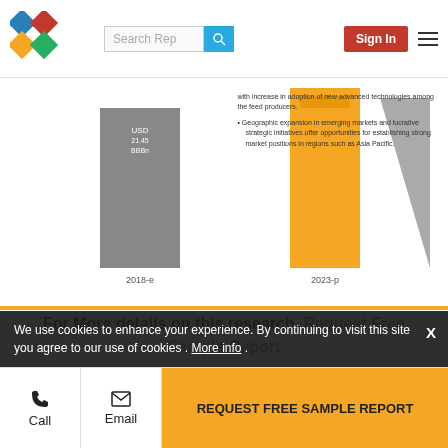Search Rep | Sign In
[Figure (bar-chart): Partial bar chart visible showing bars for 2018-e and 2023-p years with gray and yellow bars, and a triangular gray shape]
For More details on this research, Request Free Sample Report
This research study involved the extensive use of secondary sources (which included directories and databases) such as Hoovers, Forbes, Bloomberg Businessweek, and Factiva to identify and collect information useful for this technical, market-oriented, and commercial study of the food processing market. The primary sources involved include industry
We use cookies to enhance your experience. By continuing to visit this site you agree to our use of cookies . More info .
Call | Email | REQUEST FREE SAMPLE REPORT